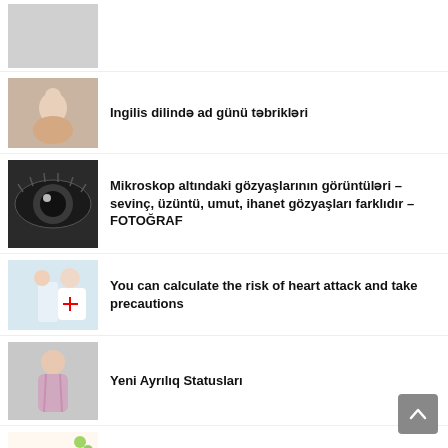[Figure (photo): Placeholder gray image at top (partially visible)]
Ingilis dilində ad günü təbrikləri
Mikroskop altındaki gözyaşlarının görüntüləri – sevinç, üzüntü, umut, ihanet gözyaşları farklıdır – FOTOĞRAF
You can calculate the risk of heart attack and take precautions
Yeni Ayrılıq Statusları
Analar üçün 8 mart təbrik mesajları